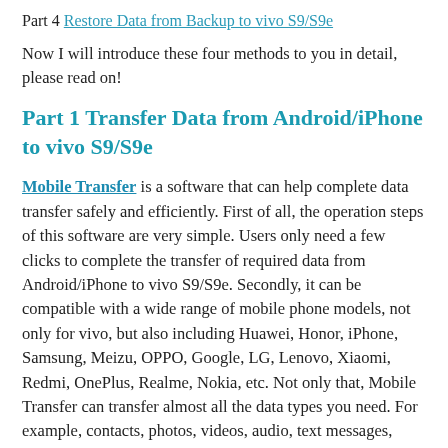Part 4 Restore Data from Backup to vivo S9/S9e
Now I will introduce these four methods to you in detail, please read on!
Part 1 Transfer Data from Android/iPhone to vivo S9/S9e
Mobile Transfer is a software that can help complete data transfer safely and efficiently. First of all, the operation steps of this software are very simple. Users only need a few clicks to complete the transfer of required data from Android/iPhone to vivo S9/S9e. Secondly, it can be compatible with a wide range of mobile phone models, not only for vivo, but also including Huawei, Honor, iPhone, Samsung, Meizu, OPPO, Google, LG, Lenovo, Xiaomi, Redmi, OnePlus, Realme, Nokia, etc. Not only that, Mobile Transfer can transfer almost all the data types you need. For example, contacts, photos, videos, audio, text messages, music, calendar, Apps, Apps data, etc. The most important thing